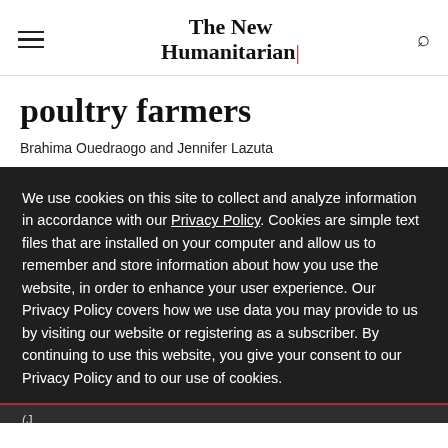The New Humanitarian
poultry farmers
Brahima Ouedraogo and Jennifer Lazuta
We use cookies on this site to collect and analyze information in accordance with our Privacy Policy. Cookies are simple text files that are installed on your computer and allow us to remember and store information about how you use the website, in order to enhance your user experience. Our Privacy Policy covers how we use data you may provide to us by visiting our website or registering as a subscriber. By continuing to use this website, you give your consent to our Privacy Policy and to our use of cookies.
OK, I agree
(J